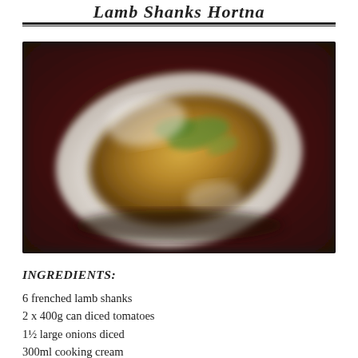Lamb Shanks Hortna
[Figure (photo): A blurry close-up photo of a lamb shank dish served on a white plate, with a dark reddish-brown background. The food appears golden/brown with green herbs on top, on a white square plate.]
INGREDIENTS:
6 frenched lamb shanks
2 x 400g can diced tomatoes
1½ large onions diced
300ml cooking cream
120g baby spinach leaves
1 cup frozen peas